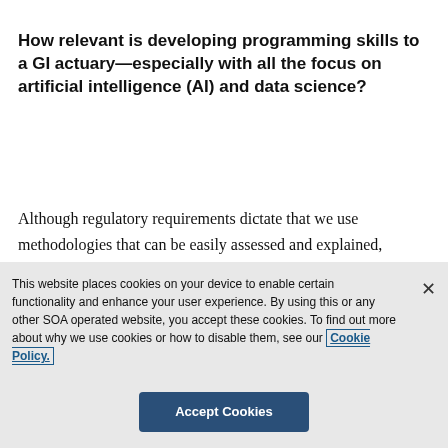How relevant is developing programming skills to a GI actuary—especially with all the focus on artificial intelligence (AI) and data science?
Although regulatory requirements dictate that we use methodologies that can be easily assessed and explained, programming skills are very relevant and useful to automate our daily, repetitive and tedious tasks. This allows
This website places cookies on your device to enable certain functionality and enhance your user experience. By using this or any other SOA operated website, you accept these cookies. To find out more about why we use cookies or how to disable them, see our Cookie Policy.
Accept Cookies